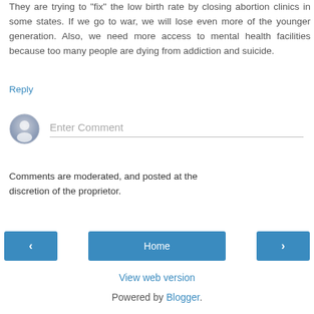They are trying to "fix" the low birth rate by closing abortion clinics in some states. If we go to war, we will lose even more of the younger generation. Also, we need more access to mental health facilities because too many people are dying from addiction and suicide.
Reply
[Figure (other): User avatar placeholder — grey circle with silhouette icon]
Enter Comment
Comments are moderated, and posted at the discretion of the proprietor.
‹
Home
›
View web version
Powered by Blogger.